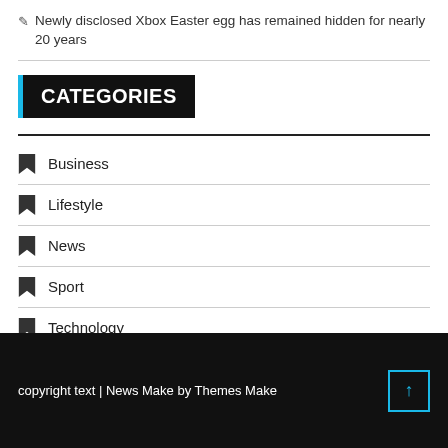✎ Newly disclosed Xbox Easter egg has remained hidden for nearly 20 years
CATEGORIES
Business
Lifestyle
News
Sport
Technology
copyright text | News Make by Themes Make